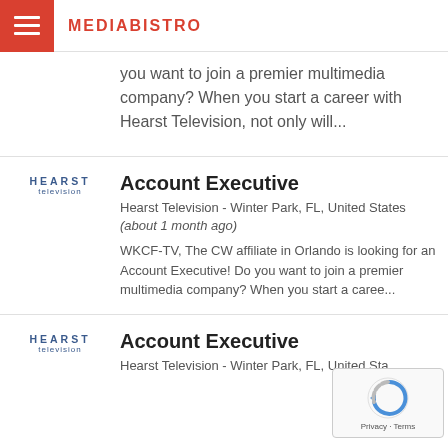MEDIABISTRO
you want to join a premier multimedia company? When you start a career with Hearst Television, not only will...
Account Executive
Hearst Television - Winter Park, FL, United States (about 1 month ago)
WKCF-TV, The CW affiliate in Orlando is looking for an Account Executive! Do you want to join a premier multimedia company? When you start a caree...
Account Executive
Hearst Television - Winter Park, FL, United Sta...